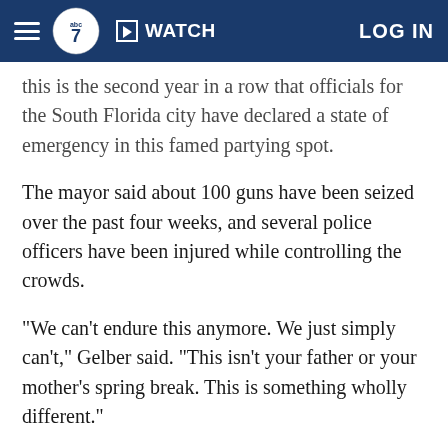ABC7 News — WATCH | LOG IN
this is the second year in a row that officials for the South Florida city have declared a state of emergency in this famed partying spot.
The mayor said about 100 guns have been seized over the past four weeks, and several police officers have been injured while controlling the crowds.
"We can't endure this anymore. We just simply can't," Gelber said. "This isn't your father or your mother's spring break. This is something wholly different."
Gelber noted that the five people were shot over the weekend despite 371 police officers being deployed.
The mayor also announced...